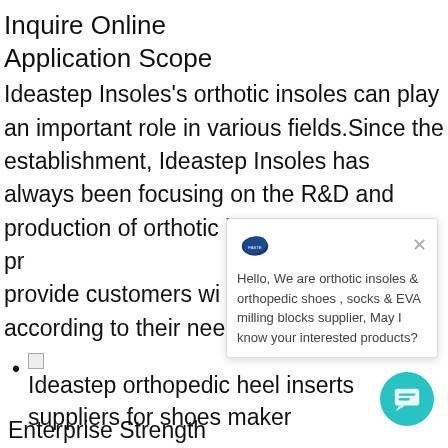Inquire Online
Application Scope
Ideastep Insoles’s orthotic insoles can play an important role in various fields.Since the establishment, Ideastep Insoles has always been focusing on the R&D and production of orthotic insoles. With great pr... provide customers wi... according to their nee...
Ideastep orthopedic heel inserts suppliers for shoes maker
Enterprise Strength